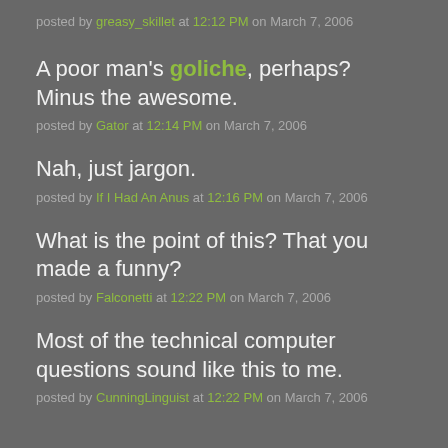posted by greasy_skillet at 12:12 PM on March 7, 2006
A poor man's goliche, perhaps? Minus the awesome.
posted by Gator at 12:14 PM on March 7, 2006
Nah, just jargon.
posted by If I Had An Anus at 12:16 PM on March 7, 2006
What is the point of this? That you made a funny?
posted by Falconetti at 12:22 PM on March 7, 2006
Most of the technical computer questions sound like this to me.
posted by CunningLinguist at 12:22 PM on March 7, 2006